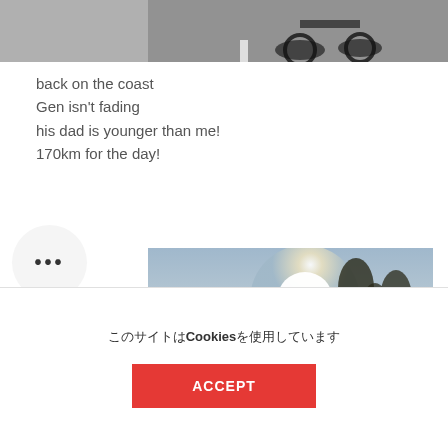[Figure (photo): Cropped top portion of a bicycle/cycling photo showing handlebars and road markings]
back on the coast
Gen isn't fading
his dad is younger than me!
170km for the day!
[Figure (photo): Cyclist in red polka-dot jersey riding on a rural road lined with trees, sun flare visible in the sky]
このサイトはCookiesを使用しています
ACCEPT